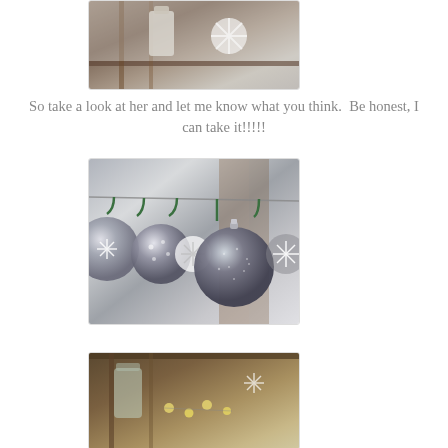[Figure (photo): Top partial photo of rustic wooden frame with snowflake decorations and candle/jar on a surface]
So take a look at her and let me know what you think.  Be honest, I can take it!!!!!
[Figure (photo): Photo of silver and white Christmas ornament balls and snowflake decorations hanging on a string with green hooks]
[Figure (photo): Bottom partial photo of mason jar and string lights in a rustic wooden frame setting]